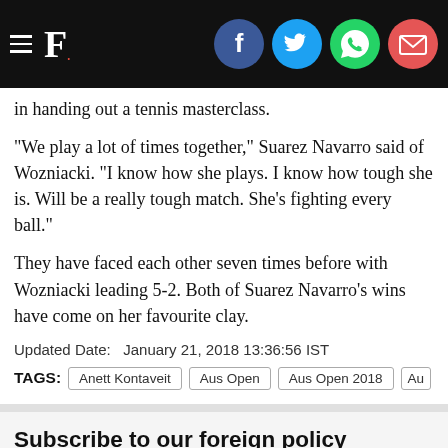F. [Firstpost logo with social share icons: Facebook, Twitter, WhatsApp, Email]
in handing out a tennis masterclass.
"We play a lot of times together," Suarez Navarro said of Wozniacki. "I know how she plays. I know how tough she is. Will be a really tough match. She's fighting every ball."
They have faced each other seven times before with Wozniacki leading 5-2. Both of Suarez Navarro's wins have come on her favourite clay.
Updated Date:   January 21, 2018 13:36:56 IST
TAGS: Anett Kontaveit   Aus Open   Aus Open 2018   Au...
Subscribe to our foreign policy newsletter
Sign up for a weekly curated briefing of the most important strategic affairs stories from across the world.